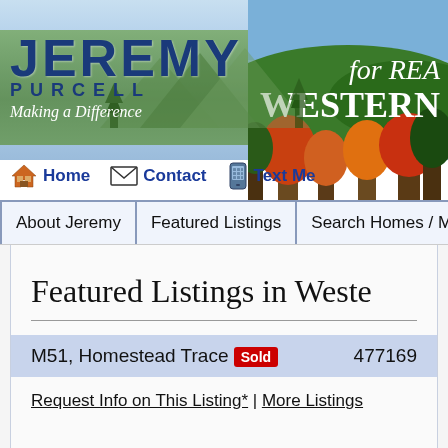[Figure (screenshot): Jeremy Purcell real estate website header with mountain/sky background, green banner, logo text 'JEREMY PURCELL Making a Difference', right side photo banner with 'for REA WESTERN' text overlay]
Jeremy Purcell | Making a Difference | Home | Contact | Text Me
About Jeremy | Featured Listings | Search Homes / MLS | R
Featured Listings in Weste
| Property | MLS# |
| --- | --- |
| M51, Homestead Trace Sold | 477169 |
Request Info on This Listing* | More Listings